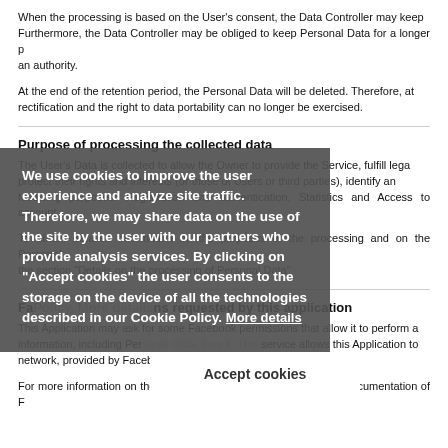When the processing is based on the User's consent, the Data Controller may keep. Furthermore, the Data Controller may be obliged to keep Personal Data for a longer period pursuant to an authority.
At the end of the retention period, the Personal Data will be deleted. Therefore, at that time the right to rectification and the right to data portability can no longer be exercised.
Purpose of processing the collected data
The User's Data is collected to allow the Owner to provide the Service, fulfill legal obligations, protect their rights and interests (or those of Users or third parties), identify any malicious or fraudulent activity, as well as the following purposes: Registration and authentication, Statistics and Access to account services.
To obtain detailed information on the purposes of the processing and on the Personal Data processed for each purpose, the user can refer to the section "Details on the processing of Personal Data".
[Figure (other): Cookie consent overlay with text: We use cookies to improve the user experience and analyze site traffic. Therefore, we may share data on the use of the site by the user with our partners who provide analysis services. By clicking on "Accept cookies" the user consents to the storage on the device of all the technologies described in our Cookie Policy. More details link. Accept cookies button.]
Facebook permissions requested by this application
This Application may ask for some Facebook permissions that allow it to perform actions with the User's Facebook account and to retrieve information, including Personal Data, from it. This service allows this Application to connect with the User's account on the Facebook social network, provided by Facebook Inc.
For more information on the following permissions, please refer to documentation of Facebook permissions.